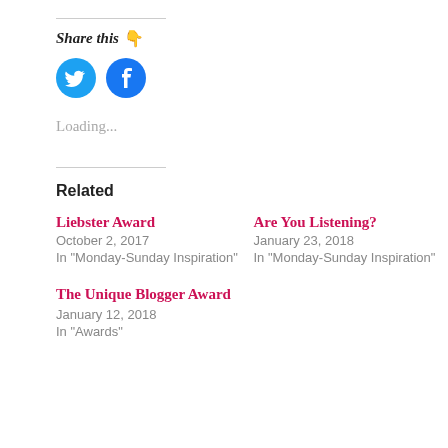Share this 👇
[Figure (other): Twitter and Facebook social share icon buttons — two blue circular buttons with white bird (Twitter) and white f (Facebook) logos]
Loading...
Related
Liebster Award
October 2, 2017
In "Monday-Sunday Inspiration"
Are You Listening?
January 23, 2018
In "Monday-Sunday Inspiration"
The Unique Blogger Award
January 12, 2018
In "Awards"